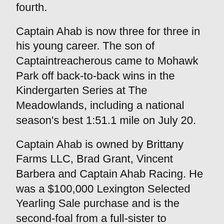fourth.
Captain Ahab is now three for three in his young career. The son of Captaintreacherous came to Mohawk Park off back-to-back wins in the Kindergarten Series at The Meadowlands, including a national season's best 1:51.1 mile on July 20.
Captain Ahab is owned by Brittany Farms LLC, Brad Grant, Vincent Barbera and Captain Ahab Racing. He was a $100,000 Lexington Selected Yearling Sale purchase and is the second-foal from a full-sister to Artpseak.
A $2 win ticket on Captain Ahab returned $2.40.
Best In Show, the third-foal from World Champion Put On A Show, was able to shoot up the rail to capture the second division in 1:54.1.